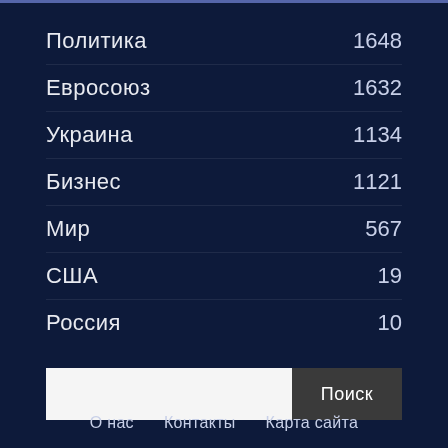Политика  1648
Евросоюз  1632
Украина  1134
Бизнес  1121
Мир  567
США  19
Россия  10
Поиск
О нас   Контакты   Карта сайта